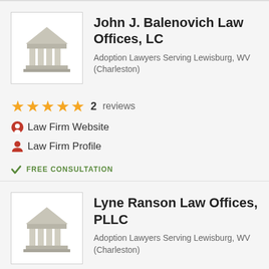[Figure (illustration): Law firm building/courthouse icon (grey columns illustration)]
John J. Balenovich Law Offices, LC
Adoption Lawyers Serving Lewisburg, WV (Charleston)
★★★★★  2  reviews
Law Firm Website
Law Firm Profile
✓ FREE CONSULTATION
[Figure (illustration): Law firm building/courthouse icon (grey columns illustration)]
Lyne Ranson Law Offices, PLLC
Adoption Lawyers Serving Lewisburg, WV (Charleston)